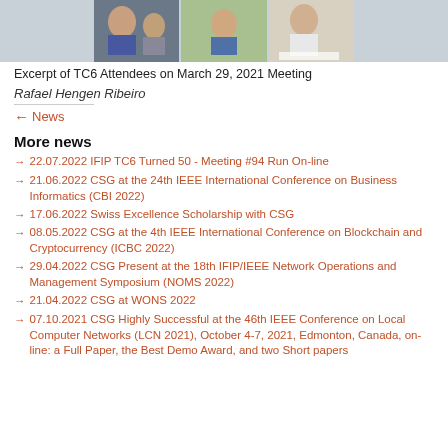[Figure (photo): Excerpt of TC6 Attendees on March 29, 2021 Meeting - video call screenshot showing multiple participants]
Excerpt of TC6 Attendees on March 29, 2021 Meeting
Rafael Hengen Ribeiro
← News
More news
22.07.2022 IFIP TC6 Turned 50 - Meeting #94 Run On-line
21.06.2022 CSG at the 24th IEEE International Conference on Business Informatics (CBI 2022)
17.06.2022 Swiss Excellence Scholarship with CSG
08.05.2022 CSG at the 4th IEEE International Conference on Blockchain and Cryptocurrency (ICBC 2022)
29.04.2022 CSG Present at the 18th IFIP/IEEE Network Operations and Management Symposium (NOMS 2022)
21.04.2022 CSG at WONS 2022
07.10.2021 CSG Highly Successful at the 46th IEEE Conference on Local Computer Networks (LCN 2021), October 4-7, 2021, Edmonton, Canada, on-line: a Full Paper, the Best Demo Award, and two Short papers